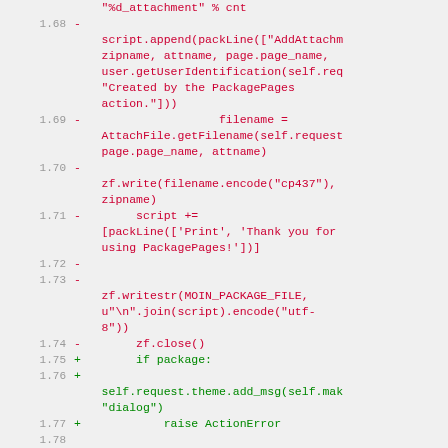[Figure (screenshot): Code diff view showing removed (red) and added (green) lines of Python code for a PackagePages action. Line numbers from 1.67 to 1.79 are visible. Removed lines show script.append with AddAttachment, zipname, filename operations. Added lines show if package block with self.request.theme.add_msg and raise ActionError.]